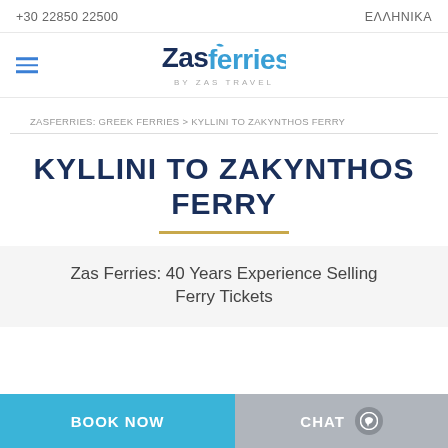+30 22850 22500   ΕΛΛΗΝΙΚΑ
[Figure (logo): Zasferries by Zas Travel logo — 'Zas' in dark navy, 'ferries' in light blue with a stylized feather/seagull accent over the 'f', subtitle 'BY ZAS TRAVEL' in small grey caps]
ZASFERRIES: GREEK FERRIES > KYLLINI TO ZAKYNTHOS FERRY
KYLLINI TO ZAKYNTHOS FERRY
Zas Ferries: 40 Years Experience Selling Ferry Tickets
BOOK NOW   CHAT